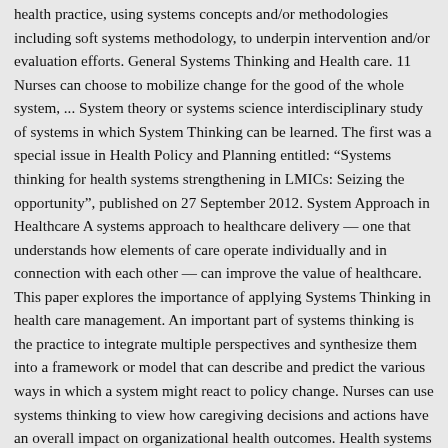health practice, using systems concepts and/or methodologies including soft systems methodology, to underpin intervention and/or evaluation efforts. General Systems Thinking and Health care. 11 Nurses can choose to mobilize change for the good of the whole system, ... System theory or systems science interdisciplinary study of systems in which System Thinking can be learned. The first was a special issue in Health Policy and Planning entitled: “Systems thinking for health systems strengthening in LMICs: Seizing the opportunity”, published on 27 September 2012. System Approach in Healthcare A systems approach to healthcare delivery — one that understands how elements of care operate individually and in connection with each other — can improve the value of healthcare. This paper explores the importance of applying Systems Thinking in health care management. An important part of systems thinking is the practice to integrate multiple perspectives and synthesize them into a framework or model that can describe and predict the various ways in which a system might react to policy change. Nurses can use systems thinking to view how caregiving decisions and actions have an overall impact on organizational health outcomes. Health systems are variously defined (Shakarishvili et al. Systems approach to health is "one that applies scientific insights to understand the elements that influence health